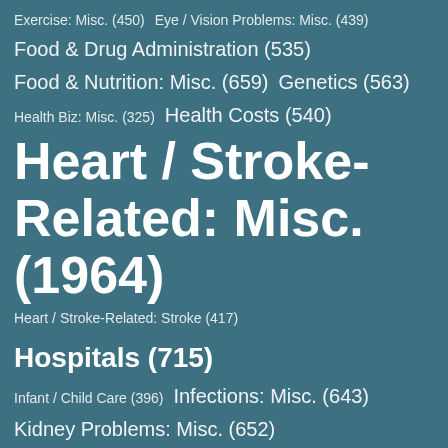Exercise: Misc. (450)
Eye / Vision Problems: Misc. (439)
Food & Drug Administration (535)
Food & Nutrition: Misc. (659)
Genetics (563)
Health Biz: Misc. (325)
Health Costs (540)
Heart / Stroke-Related: Misc. (1964)
Heart / Stroke-Related: Stroke (417)
Hospitals (715)
Infant / Child Care (396)
Infections: Misc. (643)
Kidney Problems: Misc. (652)
Kids: Misc. (1729)
MORT (400)
Obesity (482)
Opioids (538)
Pain (452)
Pregnancy (881)
Prescription Drugs (2668)
Psychology / Mental Health: Misc. (470)
Race (658)
Respiratory Problems: Misc. (620)
Screening (790)